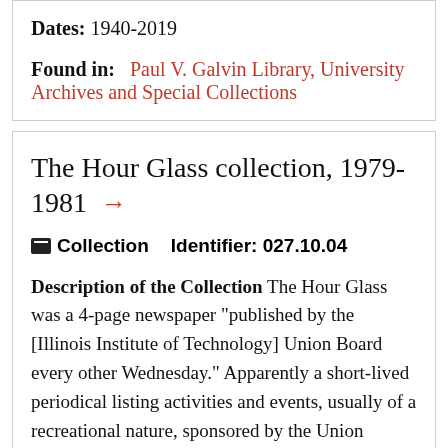Dates: 1940-2019
Found in:  Paul V. Galvin Library, University Archives and Special Collections
The Hour Glass collection, 1979-1981 →
Collection   Identifier: 027.10.04
Description of the Collection The Hour Glass was a 4-page newspaper "published by the [Illinois Institute of Technology] Union Board every other Wednesday." Apparently a short-lived periodical listing activities and events, usually of a recreational nature, sponsored by the Union Board, a campus